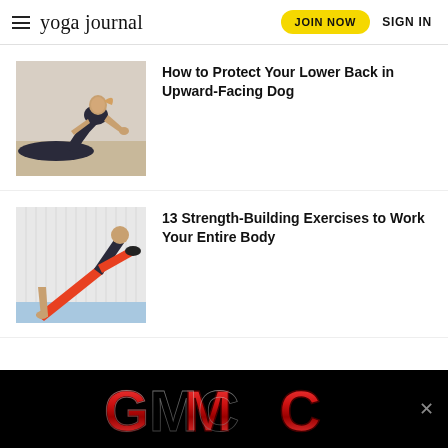yoga journal | JOIN NOW | SIGN IN
[Figure (photo): Woman performing upward-facing dog yoga pose on floor]
How to Protect Your Lower Back in Upward-Facing Dog
[Figure (photo): Person performing a side plank exercise with leg raised, wearing orange leggings]
13 Strength-Building Exercises to Work Your Entire Body
[Figure (logo): GMC logo advertisement banner on black background]